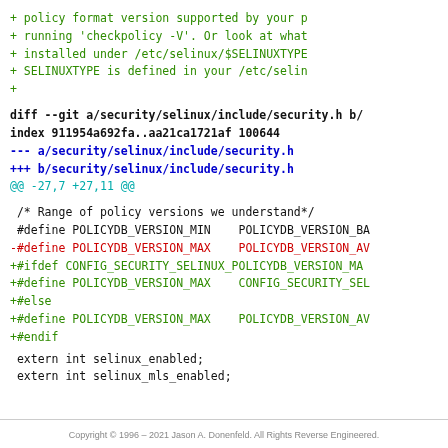+         policy format version supported by your p
+         running 'checkpolicy -V'. Or look at what
+         installed under /etc/selinux/$SELINUXTYPE
+         SELINUXTYPE is defined in your /etc/selin
+
diff --git a/security/selinux/include/security.h b/
index 911954a692fa..aa21ca1721af 100644
--- a/security/selinux/include/security.h
+++ b/security/selinux/include/security.h
@@ -27,7 +27,11 @@
/* Range of policy versions we understand*/
 #define POLICYDB_VERSION_MIN    POLICYDB_VERSION_BA
-#define POLICYDB_VERSION_MAX    POLICYDB_VERSION_AV
+#ifdef CONFIG_SECURITY_SELINUX_POLICYDB_VERSION_MA
+#define POLICYDB_VERSION_MAX    CONFIG_SECURITY_SEL
+#else
+#define POLICYDB_VERSION_MAX    POLICYDB_VERSION_AV
+#endif

 extern int selinux_enabled;
 extern int selinux_mls_enabled;
Copyright © 1996 – 2021 Jason A. Donenfeld. All Rights Reverse Engineered.